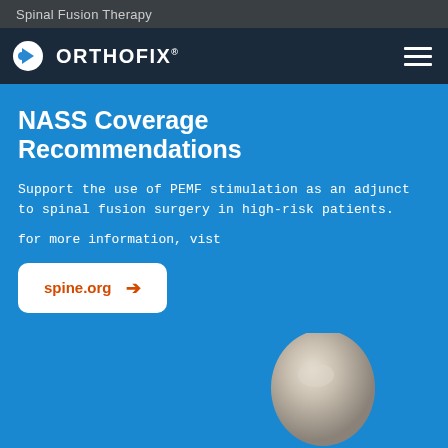Spinal Fusion Therapy
[Figure (logo): Orthofix logo with circular icon and text ORTHOFIX]
NASS Coverage Recommendations
Support the use of PEMF stimulation as an adjunct to spinal fusion surgery in high-risk patients.
for more information, vist
spine.org →
[Figure (photo): Medical device component, rounded metallic implant, partially visible at bottom of page]